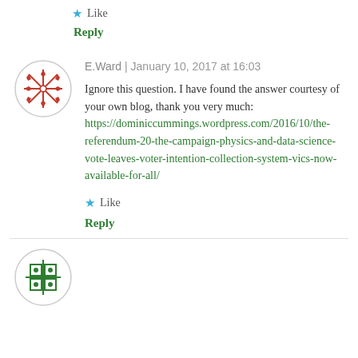Like
Reply
E.Ward  |  January 10, 2017 at 16:03
Ignore this question. I have found the answer courtesy of your own blog, thank you very much: https://dominiccummings.wordpress.com/2016/10/the-referendum-20-the-campaign-physics-and-data-science-vote-leaves-voter-intention-collection-system-vics-now-available-for-all/
Like
Reply
[Figure (illustration): Circular avatar icon with red geometric snowflake/star pattern on white background with a light circle border]
[Figure (illustration): Circular avatar icon with green and dark geometric pattern, partially visible at bottom of page]